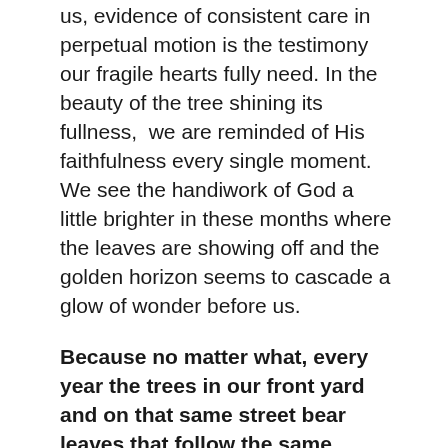us, evidence of consistent care in perpetual motion is the testimony our fragile hearts fully need. In the beauty of the tree shining its fullness, we are reminded of His faithfulness every single moment. We see the handiwork of God a little brighter in these months where the leaves are showing off and the golden horizon seems to cascade a glow of wonder before us.
Because no matter what, every year the trees in our front yard and on that same street bear leaves that follow the same pattern of bud, bloom, and let go. We can count on the seasons to show us His faithfulness to remind us not to starve for want of wonder.